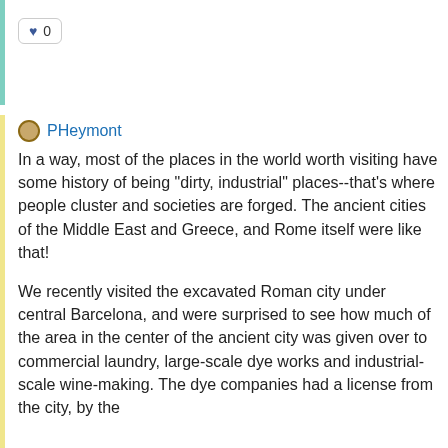[Figure (other): Like/heart button with count 0]
PHeymont
In a way, most of the places in the world worth visiting have some history of being "dirty, industrial" places--that's where people cluster and societies are forged. The ancient cities of the Middle East and Greece, and Rome itself were like that!
We recently visited the excavated Roman city under central Barcelona, and were surprised to see how much of the area in the center of the ancient city was given over to commercial laundry, large-scale dye works and industrial-scale wine-making. The dye companies had a license from the city, by the